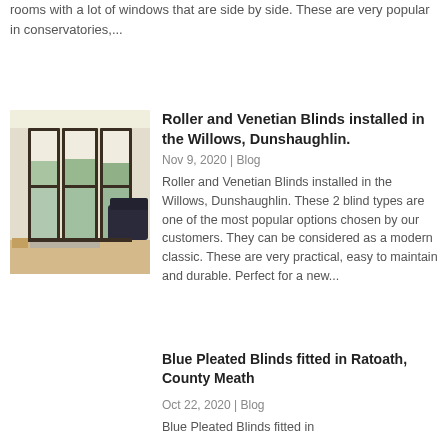rooms with a lot of windows that are side by side. These are very popular in conservatories,...
[Figure (photo): Interior room photo showing roller blinds installed on large bi-fold glass doors, with a sofa visible and wooden flooring]
Roller and Venetian Blinds installed in the Willows, Dunshaughlin.
Nov 9, 2020 | Blog
Roller and Venetian Blinds installed in the Willows, Dunshaughlin. These 2 blind types are one of the most popular options chosen by our customers. They can be considered as a modern classic. These are very practical, easy to maintain and durable. Perfect for a new...
Blue Pleated Blinds fitted in Ratoath, County Meath
Oct 22, 2020 | Blog
Blue Pleated Blinds fitted in